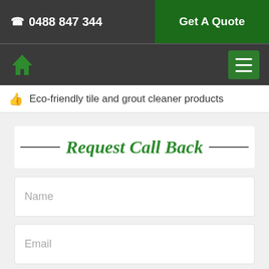☎ 0488 847 344 | Get A Quote
[Figure (screenshot): Navigation bar with green home icon and green hamburger menu button]
🖐 Eco-friendly tile and grout cleaner products
Request Call Back
Name
Email
Mobile